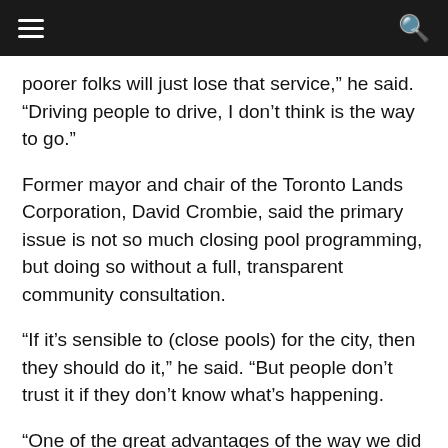Navigation bar with hamburger menu and search icon
poorer folks will just lose that service,” he said. “Driving people to drive, I don’t think is the way to go.”
Former mayor and chair of the Toronto Lands Corporation, David Crombie, said the primary issue is not so much closing pool programming, but doing so without a full, transparent community consultation.
“If it’s sensible to (close pools) for the city, then they should do it,” he said. “But people don’t trust it if they don’t know what’s happening.
“One of the great advantages of the way we did it before, it was totally public, it was totally engaging, it was totally transparent … None of that has